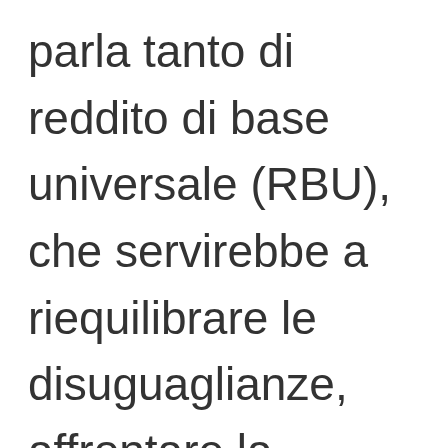parla tanto di reddito di base universale (RBU), che servirebbe a riequilibrare le disuguaglianze, affrontare la